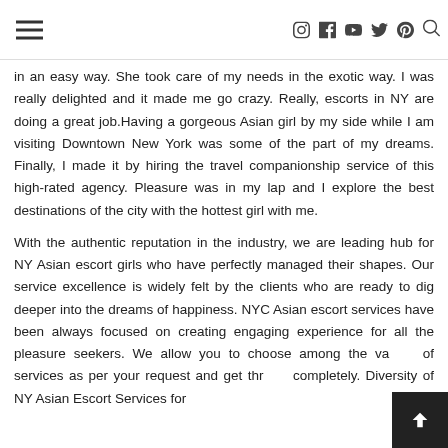[hamburger menu] [social icons: Instagram, Facebook, YouTube, Twitter, Pinterest] [search icon]
in an easy way. She took care of my needs in the exotic way. I was really delighted and it made me go crazy. Really, escorts in NY are doing a great job.Having a gorgeous Asian girl by my side while I am visiting Downtown New York was some of the part of my dreams. Finally, I made it by hiring the travel companionship service of this high-rated agency. Pleasure was in my lap and I explore the best destinations of the city with the hottest girl with me.
With the authentic reputation in the industry, we are leading hub for NY Asian escort girls who have perfectly managed their shapes. Our service excellence is widely felt by the clients who are ready to dig deeper into the dreams of happiness. NYC Asian escort services have been always focused on creating engaging experience for all the pleasure seekers. We allow you to choose among the variety of services as per your request and get thrilled completely. Diversity of NY Asian Escort Services for